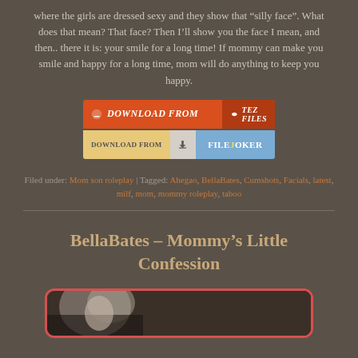where the girls are dressed sexy and they show that “silly face”. What does that mean? That face? Then I’ll show you the face I mean, and then.. there it is: your smile for a long time! If mommy can make you smile and happy for a long time, mom will do anything to keep you happy.
[Figure (other): Download buttons: 'DOWNLOAD FROM TEZ FILES' in orange/red, and 'DOWNLOAD FROM FILEJOKER' in yellow/blue]
Filed under: Mom son roleplay | Tagged: Ahegao, BellaBates, Cumshots, Facials, latest, milf, mom, mommy roleplay, taboo
BellaBates – Mommy’s Little Confession
[Figure (photo): Partial thumbnail image with red rounded border, showing a person against dark background]